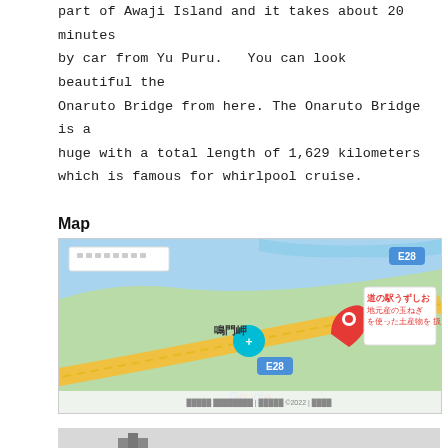part of Awaji Island and it takes about 20 minutes by car from Yu Puru.   You can look beautiful the Onaruto Bridge from here. The Onaruto Bridge is a huge with a total length of 1,629 kilometers which is famous for whirlpool cruise.
Map
[Figure (map): Google Map screenshot showing 道の駅うずしお (Michi-no-Eki Uzushio) location near 鳴門岬 (Naruto Cape) with E28 highway marker. Red pin marks the station location with label '道の駅うずしお 地元産の玉ねぎ を使った土産物を 扱う…'. A teal location pin shows 鳴門岬. Google copyright 2022 shown at bottom.]
[Figure (photo): Partial photo at bottom of page showing a building or structure, mostly cut off.]